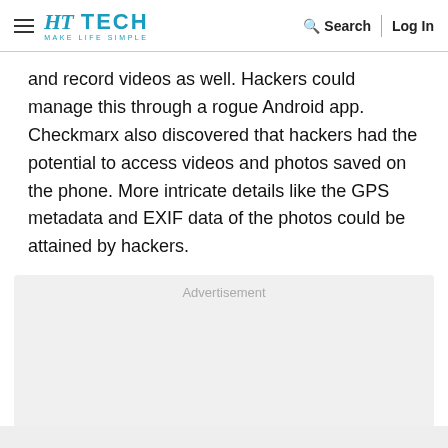HT TECH MAKE LIFE SIMPLE — Search | Log In
and record videos as well. Hackers could manage this through a rogue Android app. Checkmarx also discovered that hackers had the potential to access videos and photos saved on the phone. More intricate details like the GPS metadata and EXIF data of the photos could be attained by hackers.
[Figure (other): Advertisement placeholder box with light gray background and the word 'Advertisement' centered at the top in gray text.]